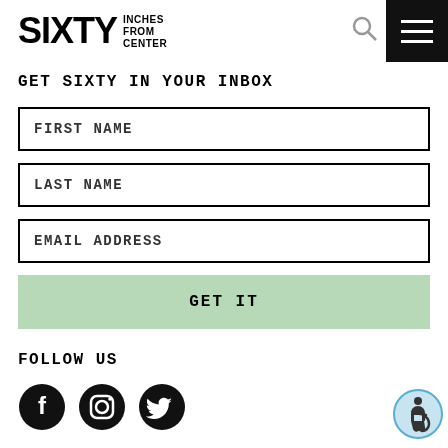SIXTY INCHES FROM CENTER
GET SIXTY IN YOUR INBOX
FIRST NAME
LAST NAME
EMAIL ADDRESS
GET IT
FOLLOW US
[Figure (illustration): Social media icons: Facebook, Instagram, Twitter circles in black]
[Figure (illustration): Accessibility icon — wheelchair user symbol in blue circle]